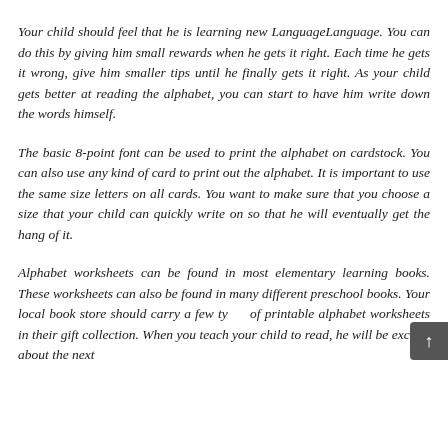Your child should feel that he is learning new LanguageLanguage. You can do this by giving him small rewards when he gets it right. Each time he gets it wrong, give him smaller tips until he finally gets it right. As your child gets better at reading the alphabet, you can start to have him write down the words himself.
The basic 8-point font can be used to print the alphabet on cardstock. You can also use any kind of card to print out the alphabet. It is important to use the same size letters on all cards. You want to make sure that you choose a size that your child can quickly write on so that he will eventually get the hang of it.
Alphabet worksheets can be found in most elementary learning books. These worksheets can also be found in many different preschool books. Your local book store should carry a few types of printable alphabet worksheets in their gift collection. When you teach your child to read, he will be excited about the next